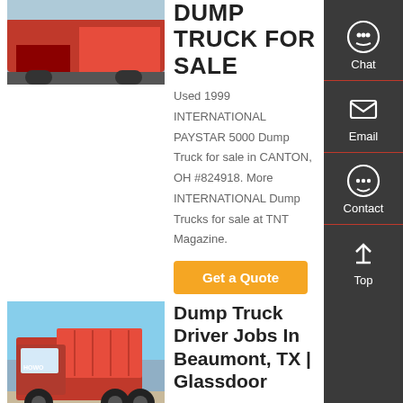[Figure (photo): Partial view of a red truck at top left, cropped]
DUMP TRUCK FOR SALE
Used 1999 INTERNATIONAL PAYSTAR 5000 Dump Truck for sale in CANTON, OH #824918. More INTERNATIONAL Dump Trucks for sale at TNT Magazine.
Get a Quote
[Figure (photo): Red HOWO dump truck parked outdoors against blue sky]
Dump Truck Driver Jobs In Beaumont, TX | Glassdoor
13 dump truck driver Jobs in Beaumont, TX. DRP Transport,